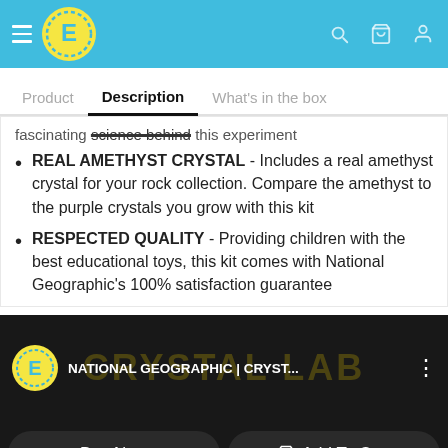E (logo) — navigation bar with search, cart, and user icons
Product   Description   What's in the box
fascinating science behind this experiment
REAL AMETHYST CRYSTAL - Includes a real amethyst crystal for your rock collection. Compare the amethyst to the purple crystals you grow with this kit
RESPECTED QUALITY - Providing children with the best educational toys, this kit comes with National Geographic's 100% satisfaction guarantee
[Figure (screenshot): Video thumbnail showing NATIONAL GEOGRAPHIC | CRYST... with E logo and CRYSTAL LAB overlay text on dark background]
Buy Now   🛒 Add To Cart